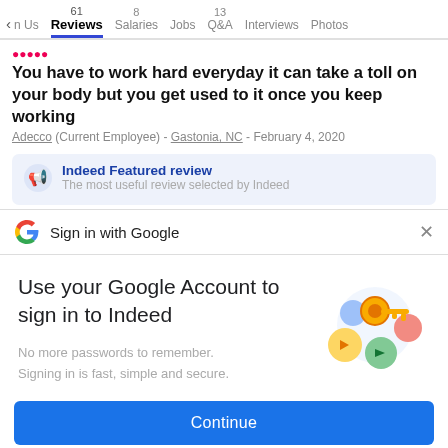n Us | 61 Reviews | 8 Salaries | Jobs | 13 Q&A | Interviews | Photos
You have to work hard everyday it can take a toll on your body but you get used to it once you keep working
Adecco (Current Employee) - Gastonia, NC - February 4, 2020
Indeed Featured review
The most useful review selected by Indeed
Sign in with Google
Use your Google Account to sign in to Indeed
No more passwords to remember. Signing in is fast, simple and secure.
Continue